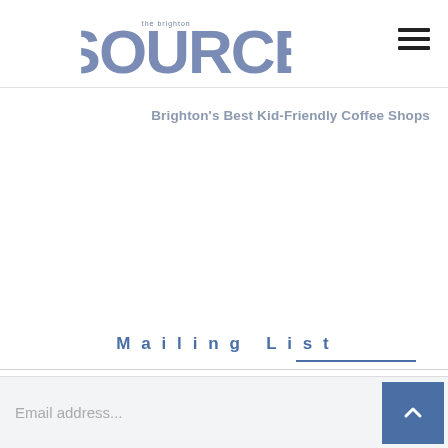THE BRIGHTON SOURCE
Brighton's Best Kid-Friendly Coffee Shops
Mailing List
Email address...